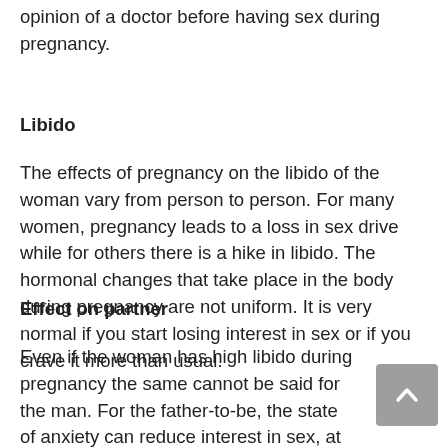opinion of a doctor before having sex during pregnancy.
Libido
The effects of pregnancy on the libido of the woman vary from person to person. For many women, pregnancy leads to a loss in sex drive while for others there is a hike in libido. The hormonal changes that take place in the body during pregnancy are not uniform. It is very normal if you start losing interest in sex or if you crave it more than usual.
Effect on partner
Even if the woman has high libido during pregnancy the same cannot be said for the man. For the father-to-be, the state of anxiety can reduce interest in sex, at the same time he might find his partner more attractive. There is no cause for anxiety when it comes to sex during pregnancy, except for in special